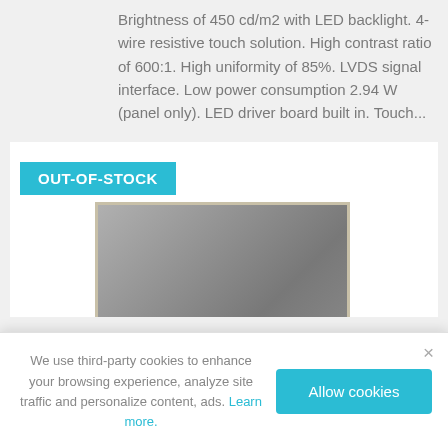Brightness of 450 cd/m2 with LED backlight. 4-wire resistive touch solution. High contrast ratio of 600:1. High uniformity of 85%. LVDS signal interface. Low power consumption 2.94 W (panel only). LED driver board built in. Touch...
[Figure (photo): Product listing card showing a flat panel LCD display module with silver/gray bezel, marked with OUT-OF-STOCK badge in teal/cyan color]
We use third-party cookies to enhance your browsing experience, analyze site traffic and personalize content, ads. Learn more.